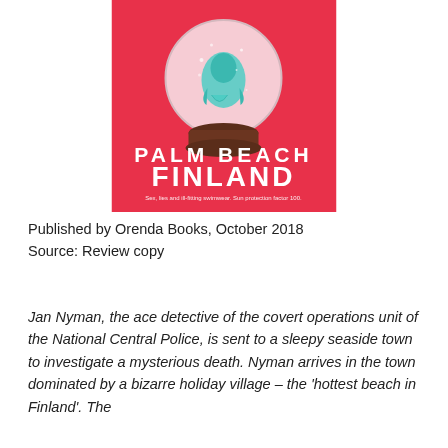[Figure (illustration): Book cover for 'Palm Beach Finland' by Orenda Books. Hot pink/red background with a snow globe containing a teal mermaid or sea creature figure. Large white bold text reads 'PALM BEACH FINLAND'. Smaller subtitle text reads 'Sex, lies and ill-fitting swimwear. Sun protection factor 100.']
Published by Orenda Books, October 2018
Source: Review copy
Jan Nyman, the ace detective of the covert operations unit of the National Central Police, is sent to a sleepy seaside town to investigate a mysterious death. Nyman arrives in the town dominated by a bizarre holiday village – the 'hottest beach in Finland'. The